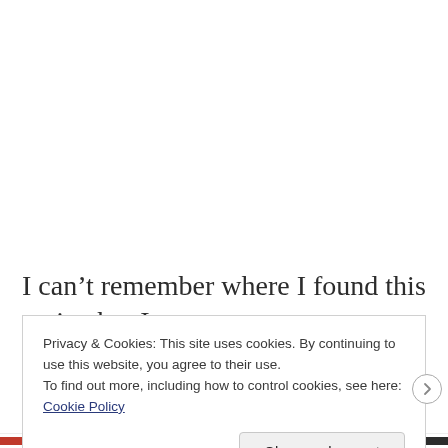I can’t remember where I found this recipe but I
Privacy & Cookies: This site uses cookies. By continuing to use this website, you agree to their use.
To find out more, including how to control cookies, see here: Cookie Policy
Close and accept